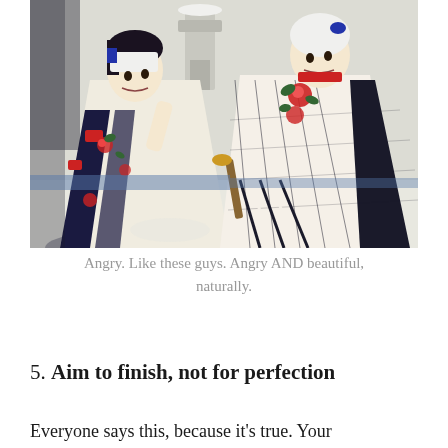[Figure (illustration): A Japanese ukiyo-e woodblock print depicting two fierce samurai warriors in elaborate patterned kimono robes. The figures have dramatic expressions, with colorful floral and geometric patterns on their garments. A snowy landscape with a stone lantern is visible in the background.]
Angry. Like these guys. Angry AND beautiful, naturally.
5. Aim to finish, not for perfection
Everyone says this, because it's true. Your